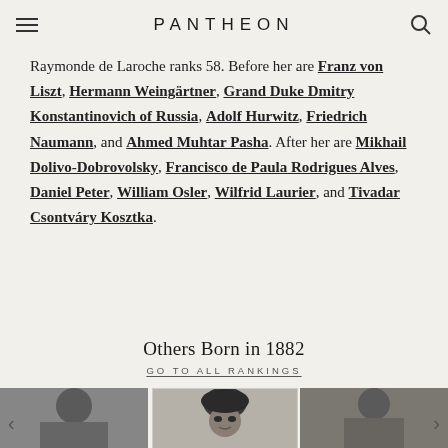PANTHEON
Raymonde de Laroche ranks 58. Before her are Franz von Liszt, Hermann Weingärtner, Grand Duke Dmitry Konstantinovich of Russia, Adolf Hurwitz, Friedrich Naumann, and Ahmed Muhtar Pasha. After her are Mikhail Dolivo-Dobrovolsky, Francisco de Paula Rodrigues Alves, Daniel Peter, William Osler, Wilfrid Laurier, and Tivadar Csontváry Kosztka.
Others Born in 1882
GO TO ALL RANKINGS
[Figure (photo): Black and white photo, partially visible, leftmost of three portraits]
[Figure (photo): Black and white photo of a woman wearing a dark beret hat, center portrait]
[Figure (photo): Black and white photo of a person, partially visible, rightmost of three portraits]